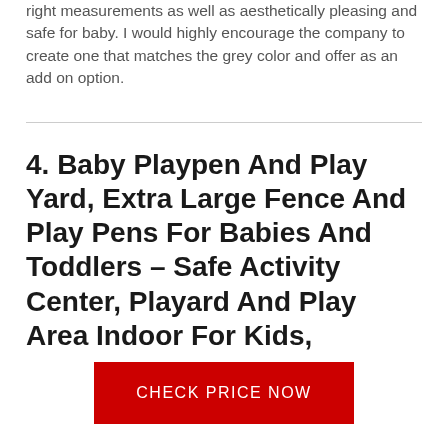right measurements as well as aesthetically pleasing and safe for baby. I would highly encourage the company to create one that matches the grey color and offer as an add on option.
4. Baby Playpen And Play Yard, Extra Large Fence And Play Pens For Babies And Toddlers – Safe Activity Center, Playard And Play Area Indoor For Kids,
CHECK PRICE NOW